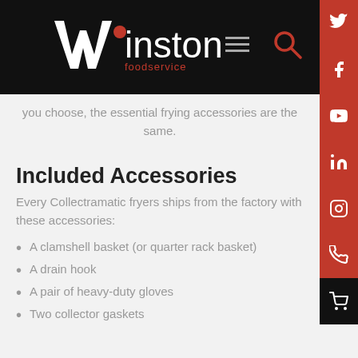[Figure (logo): Winston Foodservice logo — white W with red dot, white 'inston', red 'foodservice' text below]
you choose, the essential frying accessories are the same.
Included Accessories
Every Collectramatic fryers ships from the factory with these accessories:
A clamshell basket (or quarter rack basket)
A drain hook
A pair of heavy-duty gloves
Two collector gaskets